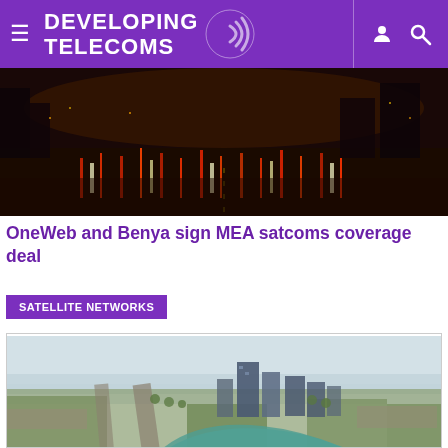DEVELOPING TELECOMS
[Figure (photo): Aerial night view of a busy city highway with red tail lights and bright city lights]
OneWeb and Benya sign MEA satcoms coverage deal
SATELLITE NETWORKS
[Figure (photo): Aerial daytime view of a Central Asian city with a river, tall skyscrapers, and tree-lined boulevards]